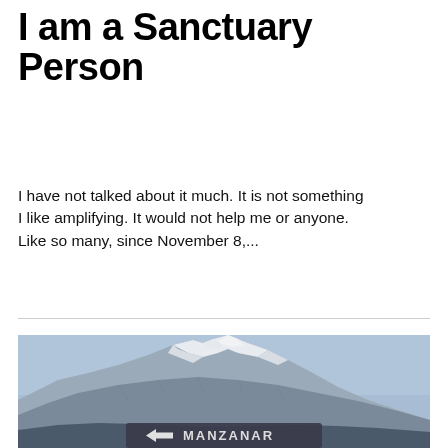I am a Sanctuary Person
I have not talked about it much. It is not something I like amplifying. It would not help me or anyone. Like so many, since November 8,...
[Figure (photo): Snow-capped mountain range under a clear blue sky, with a road sign pointing left to Manzanar in the foreground.]